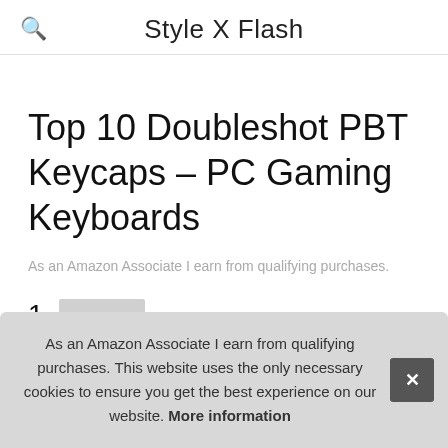Style X Flash
Top 10 Doubleshot PBT Keycaps – PC Gaming Keyboards
As an Amazon Associate I earn from qualifying purchases.
1. Glicing
#ad
As an Amazon Associate I earn from qualifying purchases. This website uses the only necessary cookies to ensure you get the best experience on our website. More information